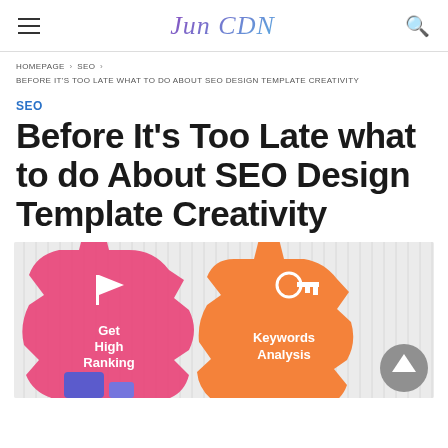Jun CDN
HOMEPAGE › SEO › BEFORE IT'S TOO LATE WHAT TO DO ABOUT SEO DESIGN TEMPLATE CREATIVITY
SEO
Before It's Too Late what to do About SEO Design Template Creativity
[Figure (infographic): SEO infographic showing colorful puzzle pieces shaped like gears. Two pieces visible: a pink/magenta piece labeled 'Get High Ranking' with a flag icon, and an orange piece labeled 'Keywords Analysis' with a key icon. Background has vertical grey lines. A grey scroll-to-top button is in the bottom right.]